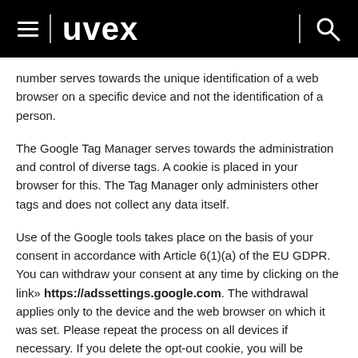uvex
number serves towards the unique identification of a web browser on a specific device and not the identification of a person.
The Google Tag Manager serves towards the administration and control of diverse tags. A cookie is placed in your browser for this. The Tag Manager only administers other tags and does not collect any data itself.
Use of the Google tools takes place on the basis of your consent in accordance with Article 6(1)(a) of the EU GDPR. You can withdraw your consent at any time by clicking on the link» https://adssettings.google.com. The withdrawal applies only to the device and the web browser on which it was set. Please repeat the process on all devices if necessary. If you delete the opt-out cookie, you will be prompted again for your consent for the data transfer.